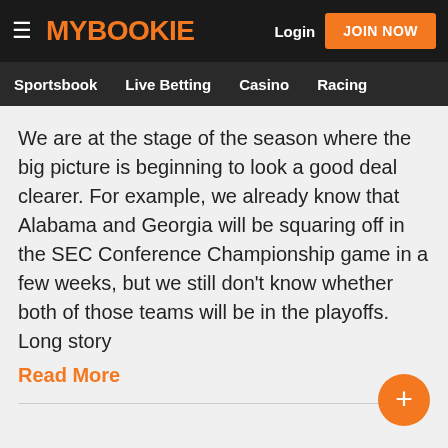MY BOOKIE | Login | JOIN NOW | Sportsbook | Live Betting | Casino | Racing
We are at the stage of the season where the big picture is beginning to look a good deal clearer. For example, we already know that Alabama and Georgia will be squaring off in the SEC Conference Championship game in a few weeks, but we still don't know whether both of those teams will be in the playoffs. Long story
Read More